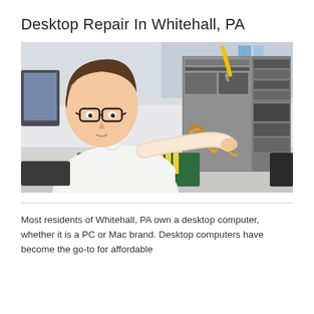Desktop Repair In Whitehall, PA
[Figure (photo): A young man wearing glasses and a white shirt working on an open desktop computer tower, working with cables and components. Computer parts including a motherboard are spread on the desk.]
Most residents of Whitehall, PA own a desktop computer, whether it is a PC or Mac brand. Desktop computers have become the go-to for affordable